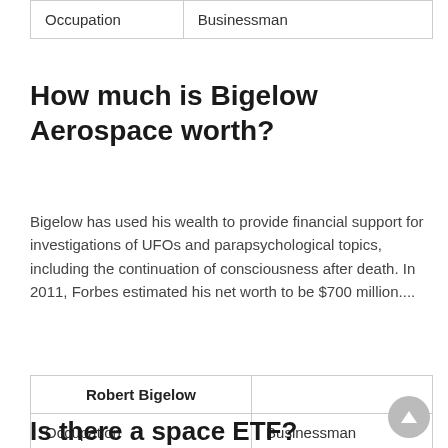| Occupation | Businessman |
How much is Bigelow Aerospace worth?
Bigelow has used his wealth to provide financial support for investigations of UFOs and parapsychological topics, including the continuation of consciousness after death. In 2011, Forbes estimated his net worth to be $700 million....
| Robert Bigelow |  |
| --- | --- |
| Occupation | Businessman |
Is there a space ETF?